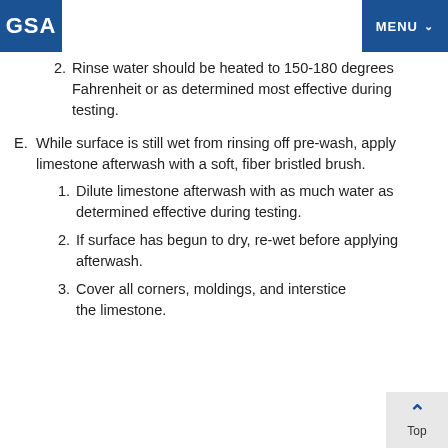GSA | MENU
2. Rinse water should be heated to 150-180 degrees Fahrenheit or as determined most effective during testing.
E. While surface is still wet from rinsing off pre-wash, apply limestone afterwash with a soft, fiber bristled brush.
1. Dilute limestone afterwash with as much water as determined effective during testing.
2. If surface has begun to dry, re-wet before applying afterwash.
3. Cover all corners, moldings, and interstices [with] the limestone.